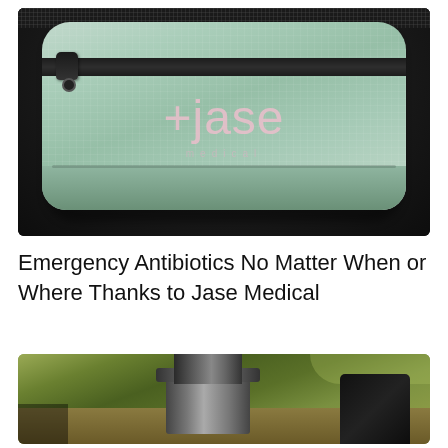[Figure (photo): A mint green Jase Medical branded zippered pouch/bag with a dark zipper across the top, photographed against a dark background. The bag has '+jase' written in pink text with 'medical' in smaller letters below.]
Emergency Antibiotics No Matter When or Where Thanks to Jase Medical
[Figure (photo): An outdoor camping scene showing a metal camp stove or cooking setup with a cylindrical fuel canister, photographed against a background of green foliage and vegetation.]